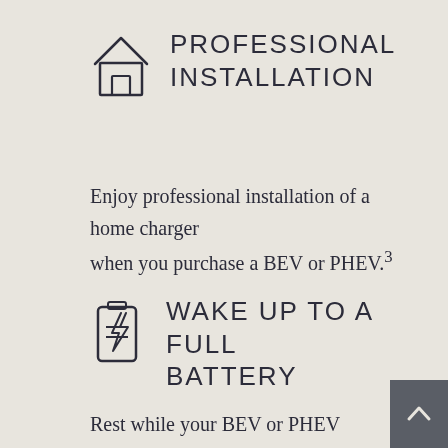[Figure (illustration): House/home icon outline]
PROFESSIONAL INSTALLATION
Enjoy professional installation of a home charger when you purchase a BEV or PHEV.³
[Figure (illustration): Battery with lightning bolt icon]
WAKE UP TO A FULL BATTERY
Rest while your BEV or PHEV recharges overnight.